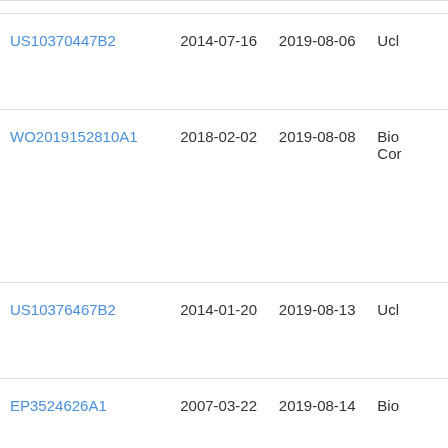| Patent ID | Filing Date | Publication Date | Assignee |
| --- | --- | --- | --- |
| US10370447B2 | 2014-07-16 | 2019-08-06 | Ucl... |
| WO2019152810A1 | 2018-02-02 | 2019-08-08 | Bio Cor... |
| US10376467B2 | 2014-01-20 | 2019-08-13 | Ucl... |
| EP3524626A1 | 2007-03-22 | 2019-08-14 | Bio... |
| US10392437B2 | 2010-08-10 | 2019-08-27 | Éco... |